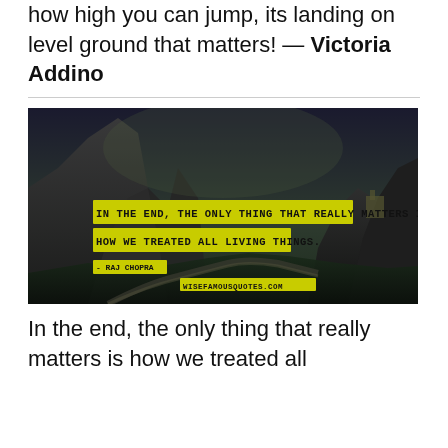how high you can jump, its landing on level ground that matters! — Victoria Addino
[Figure (photo): Dark landscape photo of mountains and winding road at dusk, overlaid with yellow block-letter text reading: IN THE END, THE ONLY THING THAT REALLY MATTERS IS HOW WE TREATED ALL LIVING THINGS. - RAJ CHOPRA. wisefamousquotes.com watermark.]
In the end, the only thing that really matters is how we treated all living things.